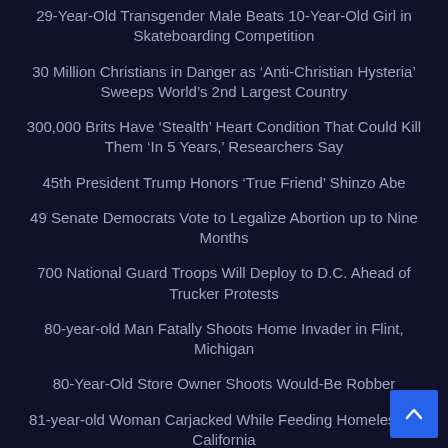29-Year-Old Transgender Male Beats 10-Year-Old Girl in Skateboarding Competition
30 Million Christians in Danger as 'Anti-Christian Hysteria' Sweeps World's 2nd Largest Country
300,000 Brits Have 'Stealth' Heart Condition That Could Kill Them 'In 5 Years,' Researchers Say
45th President Trump Honors 'True Friend' Shinzo Abe
49 Senate Democrats Vote to Legalize Abortion up to Nine Months
700 National Guard Troops Will Deploy to D.C. Ahead of Trucker Protests
80-year-old Man Fatally Shoots Home Invader in Flint, Michigan
80-Year-Old Store Owner Shoots Would-Be Robber
81-year-old Woman Carjacked While Feeding Homeless in California
96% Of Germans With Omicron Were 'Fully Vaccinated,' 28% Triple Vaxxed, Only 4% Unvaxxed, Government Says
A Buffalo 911 Dispatcher Was Fired for Reportedly Hanging up on